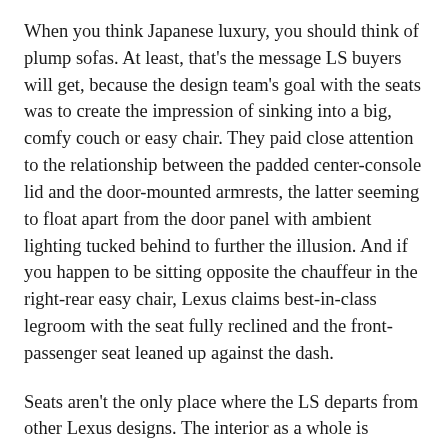When you think Japanese luxury, you should think of plump sofas. At least, that's the message LS buyers will get, because the design team's goal with the seats was to create the impression of sinking into a big, comfy couch or easy chair. They paid close attention to the relationship between the padded center-console lid and the door-mounted armrests, the latter seeming to float apart from the door panel with ambient lighting tucked behind to further the illusion. And if you happen to be sitting opposite the chauffeur in the right-rear easy chair, Lexus claims best-in-class legroom with the seat fully reclined and the front-passenger seat leaned up against the dash.
Seats aren't the only place where the LS departs from other Lexus designs. The interior as a whole is warmer, more welcoming, and more organic in its forms than other Lexuses. Six thin bands of magnesium span the dash, beginning at the driver's door before bunching up as they bend up and over the instrument panel, then fanning back out as they continue their